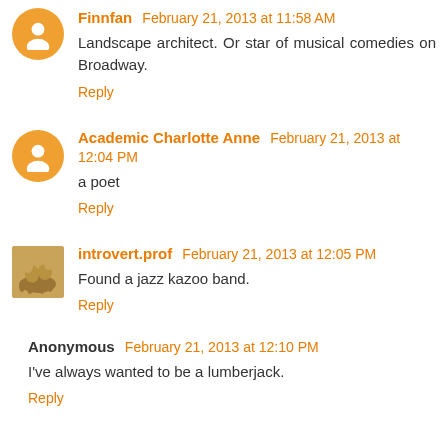Finnfan February 21, 2013 at 11:58 AM
Landscape architect. Or star of musical comedies on Broadway.
Reply
Academic Charlotte Anne February 21, 2013 at 12:04 PM
a poet
Reply
introvert.prof February 21, 2013 at 12:05 PM
Found a jazz kazoo band.
Reply
Anonymous February 21, 2013 at 12:10 PM
I've always wanted to be a lumberjack.
Reply